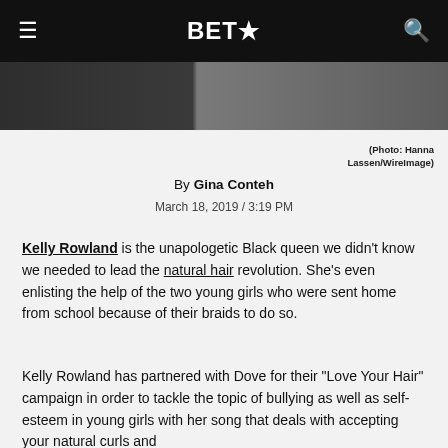BET★
[Figure (photo): Cropped photo showing a dark-clothed figure, used as article header image]
(Photo: Hanna Lassen/WireImage)
By Gina Conteh
March 18, 2019 / 3:19 PM
Kelly Rowland is the unapologetic Black queen we didn't know we needed to lead the natural hair revolution. She's even enlisting the help of the two young girls who were sent home from school because of their braids to do so.
Kelly Rowland has partnered with Dove for their "Love Your Hair" campaign in order to tackle the topic of bullying as well as self-esteem in young girls with her song that deals with accepting your natural curls and